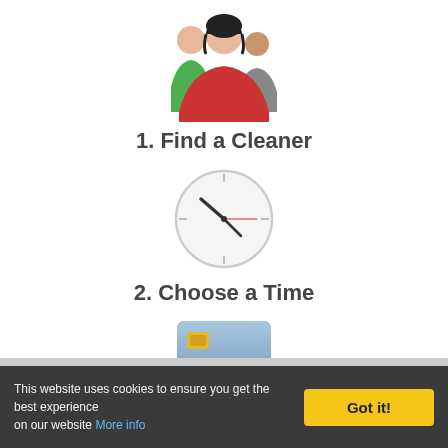[Figure (illustration): Three people icon: a woman in red top in the center with black hair, flanked by two people in green and gray]
1. Find a Cleaner
[Figure (illustration): Clock icon showing time approximately 10:10 with hour and minute hands, thin red second hand]
2. Choose a Time
[Figure (illustration): Credit card icon: blue/gray card with yellow chip and gray stripe lines]
3. Pay After
This website uses cookies to ensure you get the best experience on our website More info  Got it!